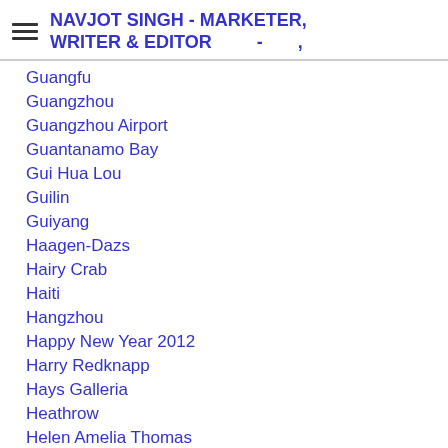NAVJOT SINGH - MARKETER, WRITER & EDITOR - ,
Guangfu
Guangzhou
Guangzhou Airport
Guantanamo Bay
Gui Hua Lou
Guilin
Guiyang
Haagen-Dazs
Hairy Crab
Haiti
Hangzhou
Happy New Year 2012
Harry Redknapp
Hays Galleria
Heathrow
Helen Amelia Thomas
Helicopter